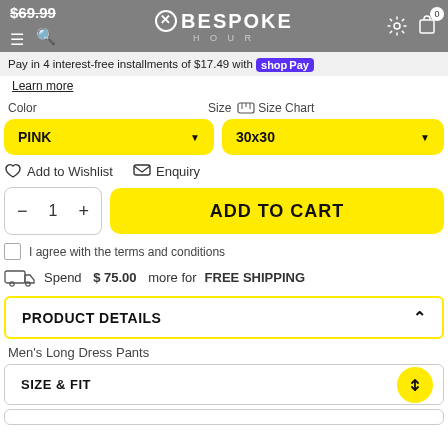$69.99 | BESPOKE HOUR
Pay in 4 interest-free installments of $17.49 with shop Pay
Learn more
Color    Size  Size Chart
PINK  (dropdown)    30x30  (dropdown)
♡ Add to Wishlist   ✉ Enquiry
- 1 +   ADD TO CART
I agree with the terms and conditions
Spend $ 75.00 more for FREE SHIPPING
PRODUCT DETAILS
Men's Long Dress Pants
SIZE & FIT